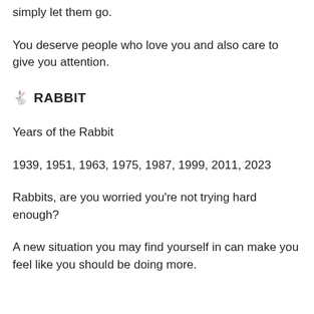simply let them go.
You deserve people who love you and also care to give you attention.
🐇 RABBIT
Years of the Rabbit
1939, 1951, 1963, 1975, 1987, 1999, 2011, 2023
Rabbits, are you worried you're not trying hard enough?
A new situation you may find yourself in can make you feel like you should be doing more.